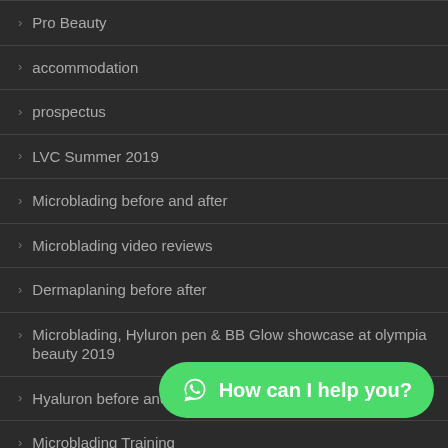Pro Beauty
accommodation
prospectus
LVC Summer 2019
Microblading before and after
Microblading video reviews
Dermaplaning before after
Microblading, Hyluron pen & BB Glow showcase at olympia beauty 2019
Hyaluron before and after
Microblading Training
Dermaplaning
How can I help you?